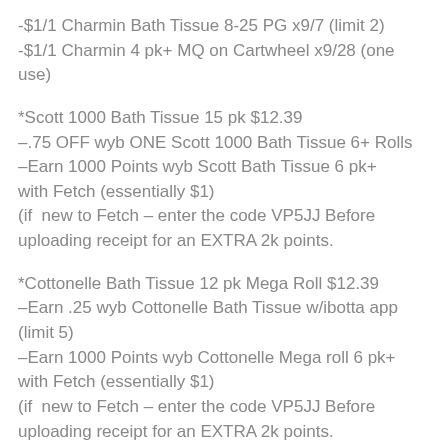-$1/1 Charmin Bath Tissue 8-25 PG x9/7 (limit 2)
-$1/1 Charmin 4 pk+ MQ on Cartwheel x9/28 (one use)
*Scott 1000 Bath Tissue 15 pk $12.39
–.75 OFF wyb ONE Scott 1000 Bath Tissue 6+ Rolls
–Earn 1000 Points wyb Scott Bath Tissue 6 pk+ with Fetch (essentially $1)
(if  new to Fetch – enter the code VP5JJ Before uploading receipt for an EXTRA 2k points.
*Cottonelle Bath Tissue 12 pk Mega Roll $12.39
–Earn .25 wyb Cottonelle Bath Tissue w/ibotta app (limit 5)
–Earn 1000 Points wyb Cottonelle Mega roll 6 pk+ with Fetch (essentially $1)
(if  new to Fetch – enter the code VP5JJ Before uploading receipt for an EXTRA 2k points.